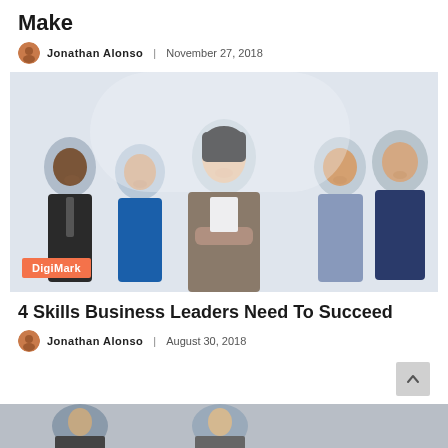make
Jonathan Alonso | November 27, 2018
[Figure (photo): Group of five business professionals standing together, woman in center with arms crossed, DigiMark badge overlay]
4 Skills Business Leaders Need To Succeed
Jonathan Alonso | August 30, 2018
[Figure (photo): Partial bottom image strip of another article]